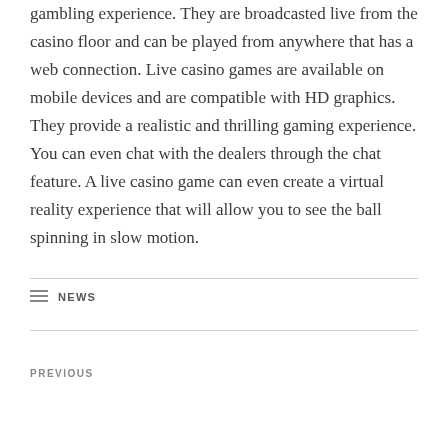gambling experience. They are broadcasted live from the casino floor and can be played from anywhere that has a web connection. Live casino games are available on mobile devices and are compatible with HD graphics. They provide a realistic and thrilling gaming experience. You can even chat with the dealers through the chat feature. A live casino game can even create a virtual reality experience that will allow you to see the ball spinning in slow motion.
CATEGORIES NEWS
PREVIOUS